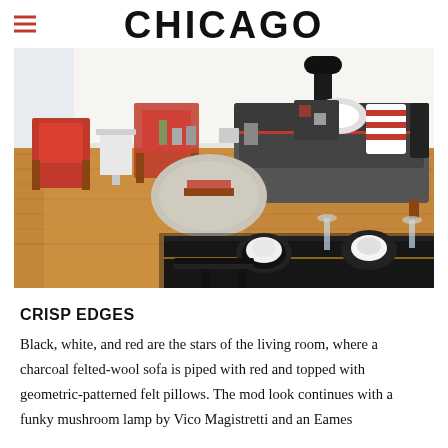CHICAGO
[Figure (photo): Interior living/dining room scene with warm hardwood floors, a charcoal gray sofa with red piping and geometric felt pillows, red chairs, a round glass coffee table, a dark dining table set with white dishes on black plates, and a black mushroom lamp.]
CRISP EDGES
Black, white, and red are the stars of the living room, where a charcoal felted-wool sofa is piped with red and topped with geometric-patterned felt pillows. The mod look continues with a funky mushroom lamp by Vico Magistretti and an Eames